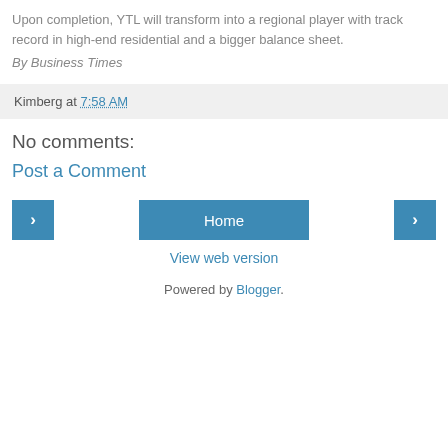Upon completion, YTL will transform into a regional player with track record in high-end residential and a bigger balance sheet.
By Business Times
Kimberg at 7:58 AM
No comments:
Post a Comment
Home
View web version
Powered by Blogger.